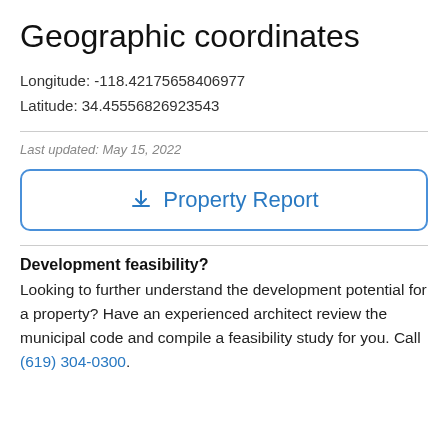Geographic coordinates
Longitude: -118.42175658406977
Latitude: 34.45556826923543
Last updated: May 15, 2022
[Figure (other): Download Property Report button with download icon]
Development feasibility?
Looking to further understand the development potential for a property? Have an experienced architect review the municipal code and compile a feasibility study for you. Call (619) 304-0300.